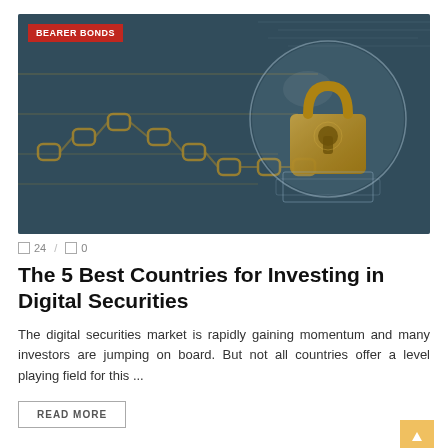[Figure (photo): Digital blockchain and cybersecurity concept image showing glowing gold chain links on a dark teal/blue circuit board background with a large illuminated padlock inside a transparent glass sphere on the right side. A red badge in the top-left reads 'BEARER BONDS'.]
24 / 0
The 5 Best Countries for Investing in Digital Securities
The digital securities market is rapidly gaining momentum and many investors are jumping on board. But not all countries offer a level playing field for this ...
READ MORE